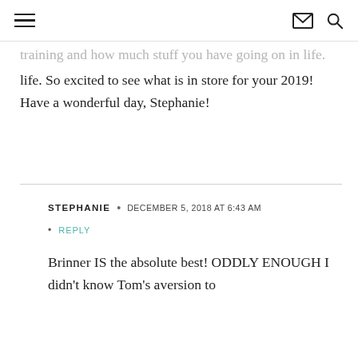[hamburger menu icon] [envelope icon] [search icon]
training and how much stuff you have going on in life. So excited to see what is in store for your 2019! Have a wonderful day, Stephanie!
STEPHANIE • DECEMBER 5, 2018 AT 6:43 AM
REPLY
Brinner IS the absolute best! ODDLY ENOUGH I didn't know Tom's aversion to brinner the first time I cooked for him. We were in a textversation right when we